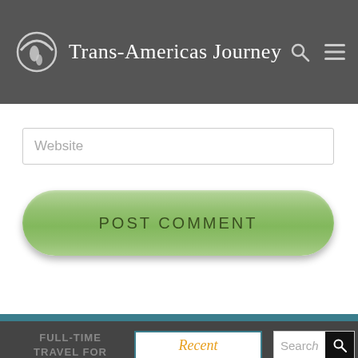Trans-Americas Journey
[Figure (screenshot): Website URL input field with placeholder text 'Website']
[Figure (screenshot): Green rounded POST COMMENT button]
FULL-TIME TRAVEL FOR | Recent | Search